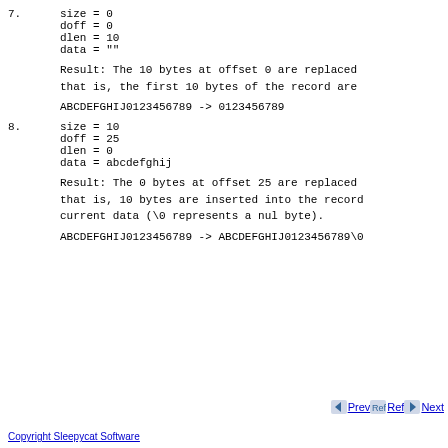7.
  size = 0
  doff = 0
  dlen = 10
  data = ""
Result: The 10 bytes at offset 0 are replaced that is, the first 10 bytes of the record are
ABCDEFGHIJ0123456789 -> 0123456789
8.
  size = 10
  doff = 25
  dlen = 0
  data = abcdefghij
Result: The 0 bytes at offset 25 are replaced that is, 10 bytes are inserted into the record current data (\0 represents a nul byte).
ABCDEFGHIJ0123456789 -> ABCDEFGHIJ0123456789\0
Copyright Sleepycat Software